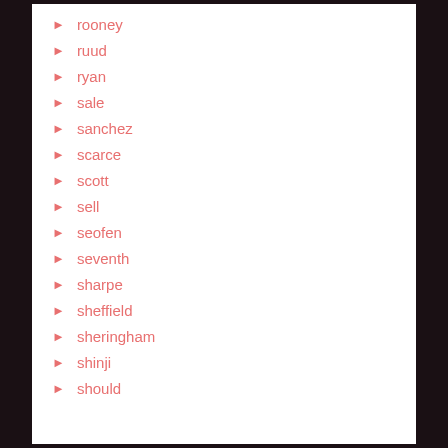rooney
ruud
ryan
sale
sanchez
scarce
scott
sell
seofen
seventh
sharpe
sheffield
sheringham
shinji
should